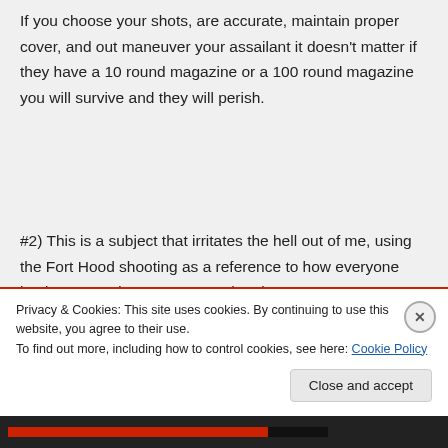If you choose your shots, are accurate, maintain proper cover, and out maneuver your assailant it doesn't matter if they have a 10 round magazine or a 100 round magazine you will survive and they will perish.
#2) This is a subject that irritates the hell out of me, using the Fort Hood shooting as a reference to how everyone having a gun does not stop a shooting spree. I was
Privacy & Cookies: This site uses cookies. By continuing to use this website, you agree to their use.
To find out more, including how to control cookies, see here: Cookie Policy